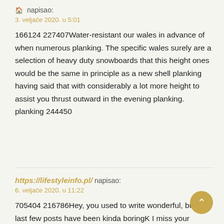🏠 napisao:
3. veljače 2020. u 5:01
166124 227407Water-resistant our wales in advance of when numerous planking. The specific wales surely are a selection of heavy duty snowboards that this height ones would be the same in principle as a new shell planking having said that with considerably a lot more height to assist you thrust outward in the evening planking. planking 244450
https://lifestyleinfo.pl/ napisao:
6. veljače 2020. u 11:22
705404 216786Hey, you used to write wonderful, but the last few posts have been kinda boringK I miss your